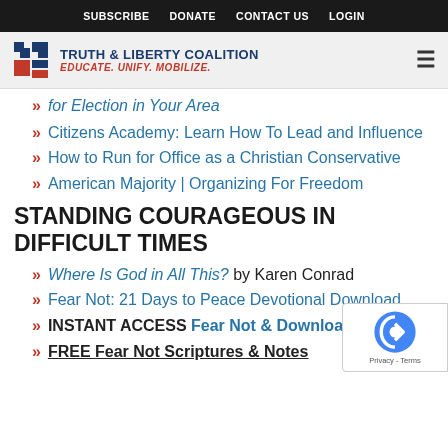SUBSCRIBE  DONATE  CONTACT US  LOGIN
[Figure (logo): Truth & Liberty Coalition logo with blue and red geometric icon. Text: TRUTH & LIBERTY COALITION, EDUCATE. UNIFY. MOBILIZE.]
for Election in Your Area (partial, cut off at top)
Citizens Academy: Learn How To Lead and Influence
How to Run for Office as a Christian Conservative
American Majority | Organizing For Freedom
STANDING COURAGEOUS IN DIFFICULT TIMES
Where Is God in All This? by Karen Conrad
Fear Not: 21 Days to Peace Devotional Download
INSTANT ACCESS Fear Not & Download
FREE Fear Not Scriptures & Notes (partial, cut off)